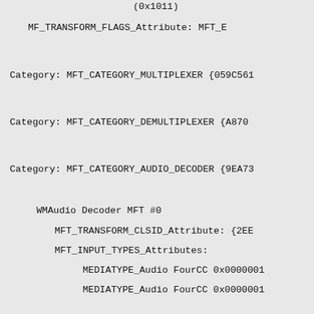(0x1011)
MF_TRANSFORM_FLAGS_Attribute: MFT_E
Category: MFT_CATEGORY_MULTIPLEXER {059C561
Category: MFT_CATEGORY_DEMULTIPLEXER {A870
Category: MFT_CATEGORY_AUDIO_DECODER {9EA73
WMAudio Decoder MFT #0
MFT_TRANSFORM_CLSID_Attribute: {2EE
MFT_INPUT_TYPES_Attributes:
MEDIATYPE_Audio FourCC 0x0000001
MEDIATYPE_Audio FourCC 0x0000001
MEDIATYPE_Audio FourCC 0x0000001
MEDIATYPE_Audio FourCC 0x0000001
(0x1011)
MFT_OUTPUT_TYPES_Attributes:
MEDIATYPE_Audio FourCC 0x000000